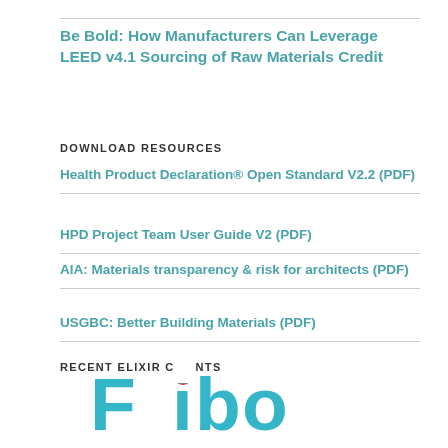Be Bold: How Manufacturers Can Leverage LEED v4.1 Sourcing of Raw Materials Credit
DOWNLOAD RESOURCES
Health Product Declaration® Open Standard V2.2 (PDF)
HPD Project Team User Guide V2 (PDF)
AIA: Materials transparency & risk for architects (PDF)
USGBC: Better Building Materials (PDF)
RECENT ELIXIR CLIENTS
[Figure (logo): Fibo logo with colorful letters: 'F' in teal, 'i' with red dot, 'b' in teal, 'o' in teal]